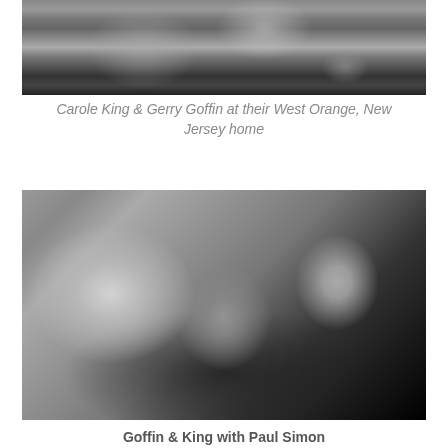[Figure (photo): Black and white photograph of Carole King and Gerry Goffin at their West Orange, New Jersey home, outdoor scene showing figures walking on grass]
Carole King & Gerry Goffin at their West Orange, New Jersey home
[Figure (photo): Black and white photograph of Goffin and King with Paul Simon, three young people leaning on a surface, smiling and looking upward]
Goffin & King with Paul Simon